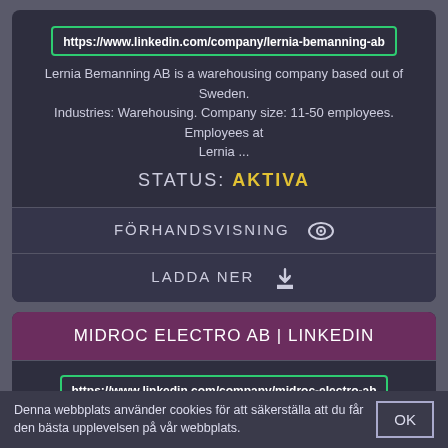https://www.linkedin.com/company/lernia-bemanning-ab
Lernia Bemanning AB is a warehousing company based out of Sweden. Industries: Warehousing. Company size: 11-50 employees. Employees at Lernia ...
STATUS: AKTIVA
FÖRHANDSVISNING
LADDA NER
MIDROC ELECTRO AB | LINKEDIN
https://www.linkedin.com/company/midroc-electro-ab
Learn about working at MIDROC ELECTRO AB. Join LinkedIn today for free. See who you know at MIDROC ELECTRO AB, leverage your
Denna webbplats använder cookies för att säkerställa att du får den bästa upplevelsen på vår webbplats.